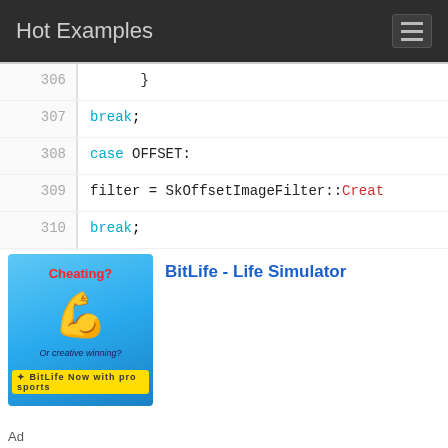Hot Examples
306    }
307        break;
308    case OFFSET:
309        filter = SkOffsetImageFilter::Creat
310        break;
311    case MATRIX:
312        filter = SkImageFilter::CreateMatri
313    
314    
315        break;
316    case MATRIX_CONVOLUTION:
317    {
318        SkImageFilter::CropRect cropR(SkRec
319
[Figure (illustration): BitLife Life Simulator advertisement banner with flexing arm emoji and Cheating? Or creative winning? text on blue background]
BitLife - Life Simulator
Ad